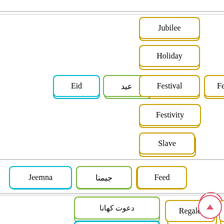[Figure (other): Flashcard/word network diagram showing Urdu word 'Eid' (عید) connected to English synonyms: Jubilee, Holiday, Festival, Feod, Festivity, Slave. Also shows 'Jeemna' (جیمنا) connected to 'Feed'. And 'dawat khaana' (دعوت کھانا) connected to Regale and Dine.]